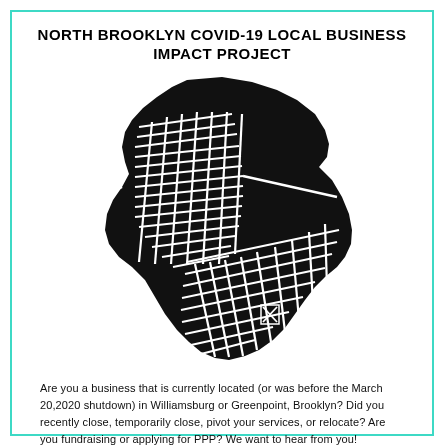NORTH BROOKLYN COVID-19 LOCAL BUSINESS IMPACT PROJECT
[Figure (map): Black silhouette map of North Brooklyn (Williamsburg and Greenpoint neighborhoods) showing street grid pattern in white lines on black fill.]
Are you a business that is currently located (or was before the March 20,2020 shutdown) in Williamsburg or Greenpoint, Brooklyn? Did you recently close, temporarily close, pivot your services, or relocate? Are you fundraising or applying for PPP? We want to hear from you!
Learn More